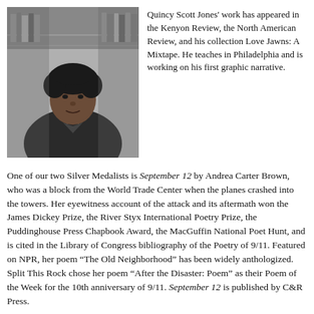[Figure (photo): Black and white portrait photo of Quincy Scott Jones, a young man with curly hair, in front of bookshelves]
Quincy Scott Jones' work has appeared in the Kenyon Review, the North American Review, and his collection Love Jawns: A Mixtape. He teaches in Philadelphia and is working on his first graphic narrative.
One of our two Silver Medalists is September 12 by Andrea Carter Brown, who was a block from the World Trade Center when the planes crashed into the towers. Her eyewitness account of the attack and its aftermath won the James Dickey Prize, the River Styx International Poetry Prize, the Puddinghouse Press Chapbook Award, the MacGuffin National Poet Hunt, and is cited in the Library of Congress bibliography of the Poetry of 9/11. Featured on NPR, her poem "The Old Neighborhood" has been widely anthologized. Split This Rock chose her poem "After the Disaster: Poem" as their Poem of the Week for the 10th anniversary of 9/11. September 12 is published by C&R Press.
"The morning of 9/11, I was sitting in my apartment a block from the World Trade Center drinking coffee and reading the paper. Shortly after the North Tower was hit, I fled on foot and, by a circuitous route through Staten Island, New Jersey, and Rockland County, was reunited